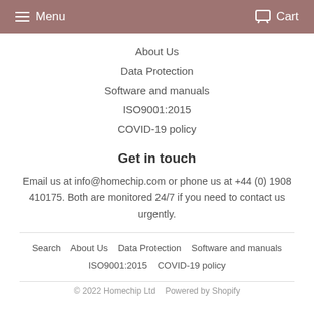Menu   Cart
About Us
Data Protection
Software and manuals
ISO9001:2015
COVID-19 policy
Get in touch
Email us at info@homechip.com or phone us at +44 (0) 1908 410175. Both are monitored 24/7 if you need to contact us urgently.
Search   About Us   Data Protection   Software and manuals   ISO9001:2015   COVID-19 policy
© 2022 Homechip Ltd   Powered by Shopify